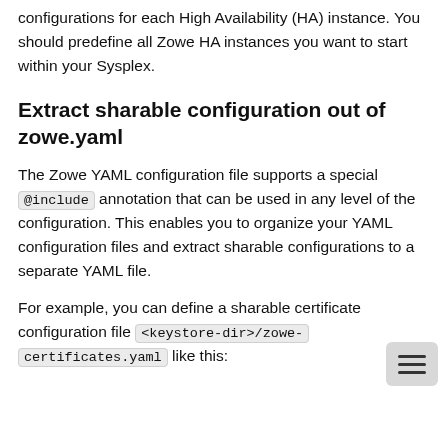configurations for each High Availability (HA) instance. You should predefine all Zowe HA instances you want to start within your Sysplex.
Extract sharable configuration out of zowe.yaml
The Zowe YAML configuration file supports a special @include annotation that can be used in any level of the configuration. This enables you to organize your YAML configuration files and extract sharable configurations to a separate YAML file.
For example, you can define a sharable certificate configuration file <keystore-dir>/zowe-certificates.yaml like this: